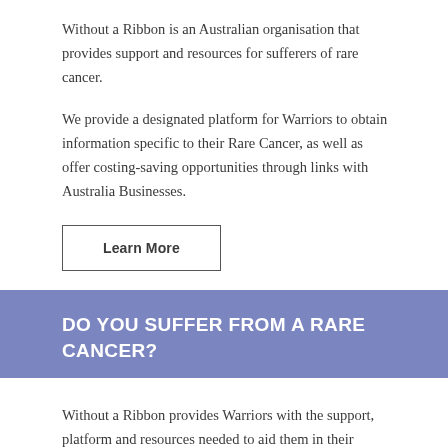Without a Ribbon is an Australian organisation that provides support and resources for sufferers of rare cancer.
We provide a designated platform for Warriors to obtain information specific to their Rare Cancer, as well as offer costing-saving opportunities through links with Australia Businesses.
Learn More
DO YOU SUFFER FROM A RARE CANCER?
Without a Ribbon provides Warriors with the support, platform and resources needed to aid them in their journey. Our community is always